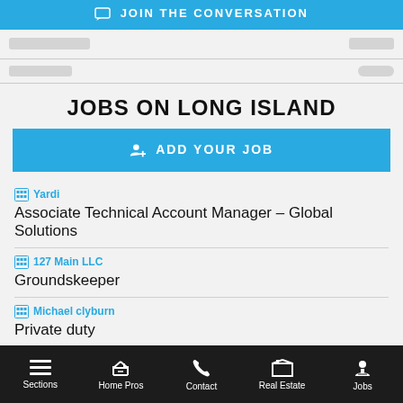[Figure (screenshot): Blue button with chat icon saying JOIN THE CONVERSATION]
JOBS ON LONG ISLAND
[Figure (screenshot): Blue ADD YOUR JOB button with person icon]
Yardi
Associate Technical Account Manager – Global Solutions
127 Main LLC
Groundskeeper
Michael clyburn
Private duty
Sections | Home Pros | Contact | Real Estate | Jobs